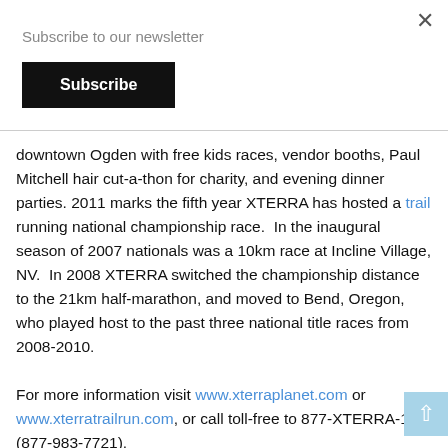Subscribe to our newsletter
Subscribe
downtown Ogden with free kids races, vendor booths, Paul Mitchell hair cut-a-thon for charity, and evening dinner parties. 2011 marks the fifth year XTERRA has hosted a trail running national championship race.  In the inaugural season of 2007 nationals was a 10km race at Incline Village, NV.  In 2008 XTERRA switched the championship distance to the 21km half-marathon, and moved to Bend, Oregon, who played host to the past three national title races from 2008-2010.
For more information visit www.xterraplanet.com or www.xterratrailrun.com, or call toll-free to 877-XTERRA-1 (877-983-7721).